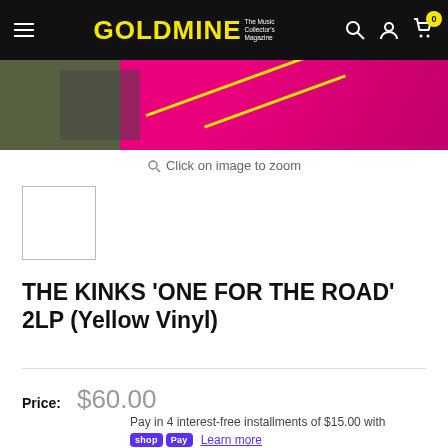GOLDMINE The Music Collector's Magazine
[Figure (photo): Pink/magenta product image strip at top of page]
Click on image to zoom
[Figure (photo): Small white thumbnail box for product image]
THE KINKS 'ONE FOR THE ROAD' 2LP (Yellow Vinyl)
Price: $60.00
Pay in 4 interest-free installments of $15.00 with
shop Pay Learn more